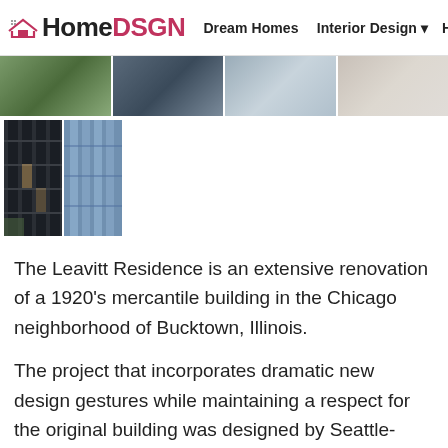HomeDSGN | Dream Homes | Interior Design | Hou
[Figure (photo): Row of four thumbnail photos of modern building/interior]
[Figure (photo): Two thumbnail photos of glass building facade]
The Leavitt Residence is an extensive renovation of a 1920's mercantile building in the Chicago neighborhood of Bucktown, Illinois.
The project that incorporates dramatic new design gestures while maintaining a respect for the original building was designed by Seattle-based architecture firm Miller Hull Partnership and realized with the help of Studio Dwell